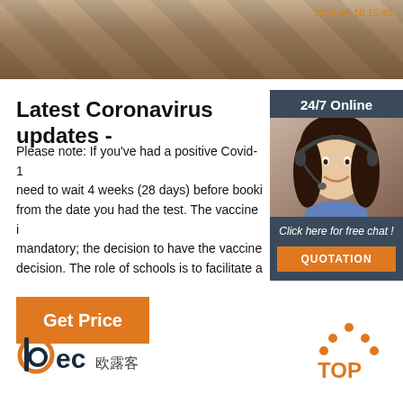[Figure (photo): Top banner image showing a hallway/corridor interior with timestamp overlay '2016-03-10 15:45']
[Figure (infographic): Side widget with '24/7 Online' header, photo of woman with headset, 'Click here for free chat!' text, and orange QUOTATION button]
Latest Coronavirus updates -
Please note: If you've had a positive Covid-19 test, you need to wait 4 weeks (28 days) before booking. Counted from the date you had the test. The vaccine is not mandatory; the decision to have the vaccine is a personal decision. The role of schools is to facilitate ac...
[Figure (other): Orange 'Get Price' button]
[Figure (logo): BEC 欧露客 logo — circular orange b, 'ec' text, Chinese characters]
[Figure (logo): TOP logo with orange triangle/dots above the word TOP]